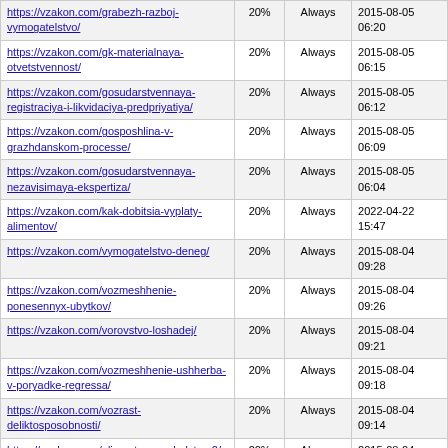| URL | % | Frequency | Last Modified |
| --- | --- | --- | --- |
| https://vzakon.com/grabezh-razboj-vymogatelstvo/ | 20% | Always | 2015-08-05 06:20 |
| https://vzakon.com/gk-materialnaya-otvetstvennost/ | 20% | Always | 2015-08-05 06:15 |
| https://vzakon.com/gosudarstvennaya-registraciya-i-likvidaciya-predpriyatiya/ | 20% | Always | 2015-08-05 06:12 |
| https://vzakon.com/gosposhlina-v-grazhdanskom-processe/ | 20% | Always | 2015-08-05 06:09 |
| https://vzakon.com/gosudarstvennaya-nezavisimaya-ekspertiza/ | 20% | Always | 2015-08-05 06:04 |
| https://vzakon.com/kak-dobitsia-vyplaty-alimentov/ | 20% | Always | 2022-04-22 15:47 |
| https://vzakon.com/vymogatelstvo-deneg/ | 20% | Always | 2015-08-04 09:28 |
| https://vzakon.com/vozmeshhenie-ponesennyx-ubytkov/ | 20% | Always | 2015-08-04 09:26 |
| https://vzakon.com/vorovstvo-loshadej/ | 20% | Always | 2015-08-04 09:21 |
| https://vzakon.com/vozmeshhenie-ushherba-v-poryadke-regressa/ | 20% | Always | 2015-08-04 09:18 |
| https://vzakon.com/vozrast-deliktosposobnosti/ | 20% | Always | 2015-08-04 09:14 |
| https://vzakon.com/alimenty-s-nasledstva-2/ | 20% | Always | 2015-08-04 09:09 |
| https://vzakon.com/vozvrat-deneg-za-vozvrashhennyj-tovar-2/ | 20% | Always | 2015-08-04 09:04 |
| https://vzakon.com/yuridicheskie-uslugi-straxovanie-2/ | 20% | Always | 2015-08-04 08:50 |
| https://vzakon.com/alimenty-na-rebenka-vne-braka/ | 20% | Always | 2015-08-04 08:46 |
| https://vzakon.com/kakoe-xishhenie-... | 20% | Always | 2015-08-04 ... |